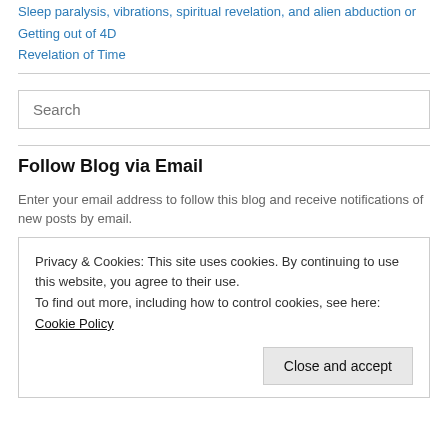Sleep paralysis, vibrations, spiritual revelation, and alien abduction or
Getting out of 4D
Revelation of Time
Search
Follow Blog via Email
Enter your email address to follow this blog and receive notifications of new posts by email.
Privacy & Cookies: This site uses cookies. By continuing to use this website, you agree to their use.
To find out more, including how to control cookies, see here: Cookie Policy
Close and accept